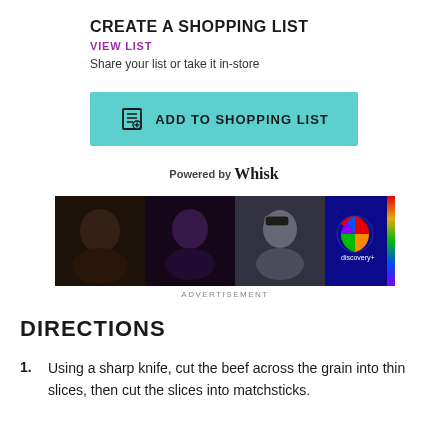CREATE A SHOPPING LIST
VIEW LIST
Share your list or take it in-store
ADD TO SHOPPING LIST
Powered by Whisk
[Figure (photo): Discovery+ advertisement banner with three panels showing TV show thumbnails and Discovery+ logo on dark blue background]
ADVERTISEMENT
DIRECTIONS
Using a sharp knife, cut the beef across the grain into thin slices, then cut the slices into matchsticks.